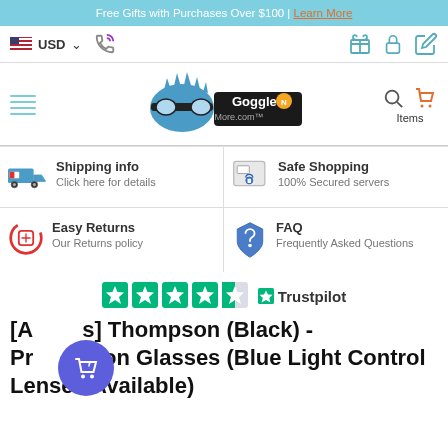Free Gifts with Purchases Over $100 | Learn More
USD
[Figure (logo): GogglesNMore.com logo with spiky blue character wearing goggles]
Shipping info
Click here for details
Safe Shopping
100% Secured servers
Easy Returns
Our Returns policy
FAQ
Frequently Asked Questions
[Figure (other): Trustpilot rating with 4.5 green stars and Trustpilot logo]
[A...s] Thompson (Black) - Prescription Glasses (Blue Light Control Lenses Available)